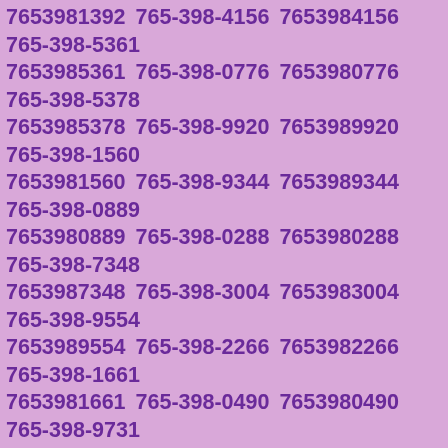7653981392 765-398-4156 7653984156 765-398-5361 7653985361 765-398-0776 7653980776 765-398-5378 7653985378 765-398-9920 7653989920 765-398-1560 7653981560 765-398-9344 7653989344 765-398-0889 7653980889 765-398-0288 7653980288 765-398-7348 7653987348 765-398-3004 7653983004 765-398-9554 7653989554 765-398-2266 7653982266 765-398-1661 7653981661 765-398-0490 7653980490 765-398-9731 7653989731 765-398-7268 7653987268 765-398-7523 7653987523 765-398-4640 7653984640 765-398-2939 7653982939 765-398-1907 7653981907 765-398-9318 7653989318 765-398-0033 7653980033 765-398-3206 7653983206 765-398-7667 7653987667 765-398-9202 7653989202 765-398-0943 7653980943 765-398-0505 7653980505 765-398-5738 7653985738 765-398-8282 7653988282 765-398-3238 7653983238 765-398-3973 7653983973 765-398-7188 7653987188 765-398-5517 7653985517 765-398-6676 7653986676 765-398-1018 7653981018 765-398-1215 7653981215 765-398-4066 7653984066 765-398-4268 7653984268 765-398-3437 7653983437 765-398-5451 7653985451 765-398-2408